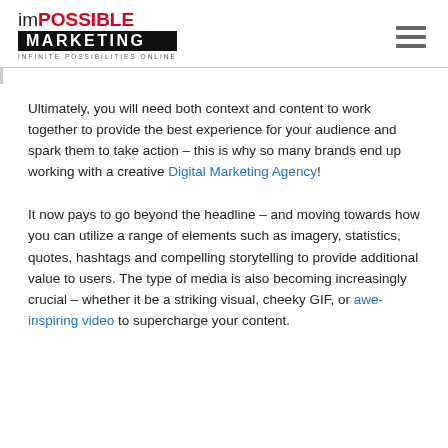[Figure (logo): Impossible Marketing logo with tagline 'INFINITE POSSIBILITIES ONLINE']
Ultimately, you will need both context and content to work together to provide the best experience for your audience and spark them to take action – this is why so many brands end up working with a creative Digital Marketing Agency!
It now pays to go beyond the headline – and moving towards how you can utilize a range of elements such as imagery, statistics, quotes, hashtags and compelling storytelling to provide additional value to users. The type of media is also becoming increasingly crucial – whether it be a striking visual, cheeky GIF, or awe-inspiring video to supercharge your content.